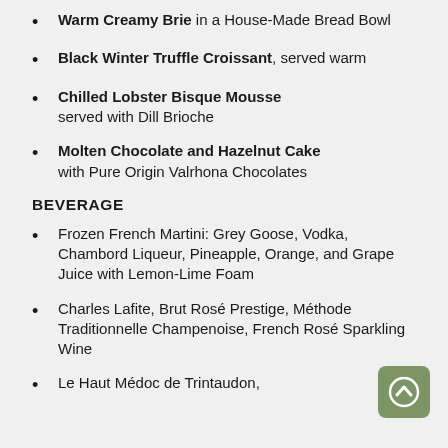Warm Creamy Brie in a House-Made Bread Bowl
Black Winter Truffle Croissant, served warm
Chilled Lobster Bisque Mousse served with Dill Brioche
Molten Chocolate and Hazelnut Cake with Pure Origin Valrhona Chocolates
BEVERAGE
Frozen French Martini: Grey Goose, Vodka, Chambord Liqueur, Pineapple, Orange, and Grape Juice with Lemon-Lime Foam
Charles Lafite, Brut Rosé Prestige, Méthode Traditionnelle Champenoise, French Rosé Sparkling Wine
Le Haut Médoc de Trintaudon,